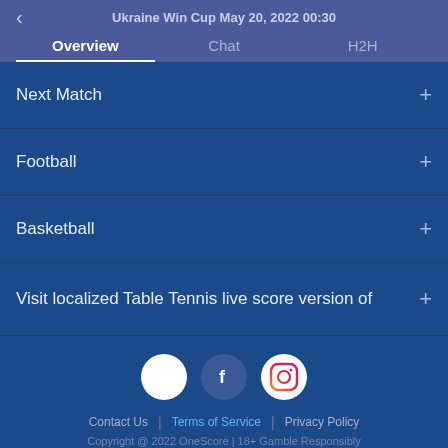Ukraine Win Cup May 20, 2022 00:30
Overview
Chat
H2H
Next Match +
Football +
Basketball +
Visit localized Table Tennis live score version of +
[Figure (infographic): Social media icons: white circle, Facebook logo (blue circle with F), Instagram logo (circle with camera icon)]
Contact Us | Terms of Service | Privacy Policy
Copyright @ 2022 OneScore | 18+ Gamble Responsibly
TheSports | AiScore's Sports Data Provider